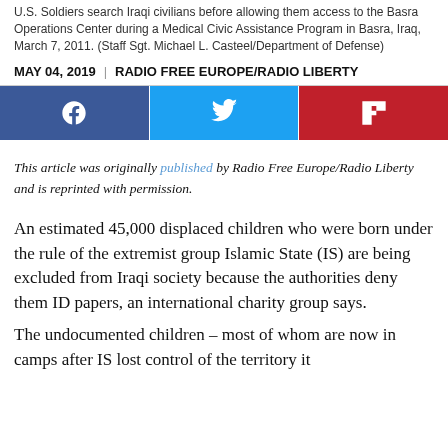U.S. Soldiers search Iraqi civilians before allowing them access to the Basra Operations Center during a Medical Civic Assistance Program in Basra, Iraq, March 7, 2011. (Staff Sgt. Michael L. Casteel/Department of Defense)
MAY 04, 2019 | RADIO FREE EUROPE/RADIO LIBERTY
[Figure (other): Social sharing buttons: Facebook, Twitter, Flipboard]
This article was originally published by Radio Free Europe/Radio Liberty and is reprinted with permission.
An estimated 45,000 displaced children who were born under the rule of the extremist group Islamic State (IS) are being excluded from Iraqi society because the authorities deny them ID papers, an international charity group says.
The undocumented children – most of whom are now in camps after IS lost control of the territory it